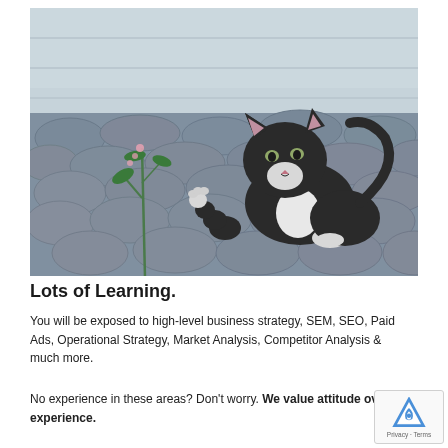[Figure (photo): A small black and white kitten sniffing or pawing at a small flowering plant growing up through cobblestone pavement, with a light grey wall in the background.]
Lots of Learning.
You will be exposed to high-level business strategy, SEM, SEO, Paid Ads, Operational Strategy, Market Analysis, Competitor Analysis & much more.
No experience in these areas? Don't worry. We value attitude over experience.